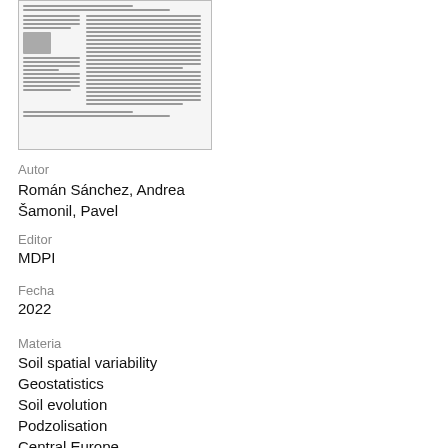[Figure (screenshot): Thumbnail preview of a scientific document page with small text columns and an embedded image]
Autor
Román Sánchez, Andrea
Šamonil, Pavel
Editor
MDPI
Fecha
2022
Materia
Soil spatial variability
Geostatistics
Soil evolution
Podzolisation
Central Europe
Tree-soil interactions